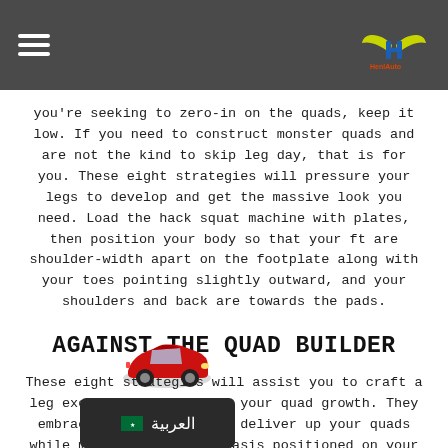[Navigation bar with hamburger menu and logo]
you're seeking to zero-in on the quads, keep it low. If you need to construct monster quads and are not the kind to skip leg day, that is for you. These eight strategies will pressure your legs to develop and get the massive look you need. Load the hack squat machine with plates, then position your body so that your ft are shoulder-width apart on the footplate along with your toes pointing slightly outward, and your shoulders and back are towards the pads.
AGAINST THE QUAD BUILDER
These eight strategies will assist you to craft a leg exercise to supersize your quad growth. They embrace specific ways to deliver up your quads while minimizing the emphasis positioned on your posterior, although we will not go as far as your DNA. If you presumably can walk up the stairs after a leg exercise, you're in all probability not doing it right. If you can...